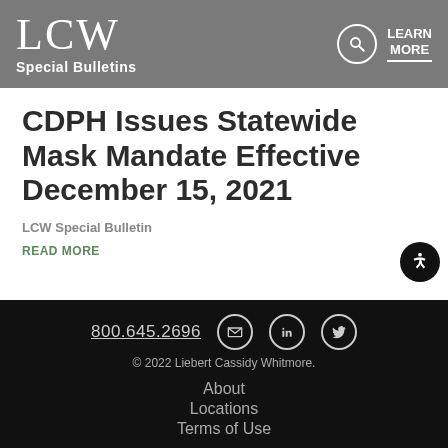LCW Special Bulletins
CDPH Issues Statewide Mask Mandate Effective December 15, 2021
LCW Special Bulletin
READ MORE
800.645.2696 © 2022 Liebert Cassidy Whitmore. About Locations Terms of Use